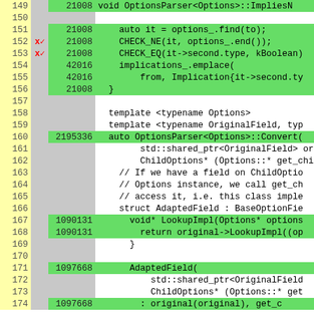[Figure (screenshot): Code coverage viewer showing C++ source lines 149-174 with line numbers, execution counts, and color-coded coverage (green=covered, white=uncovered). Red X marks on lines 152 and 153 indicate branch coverage issues.]